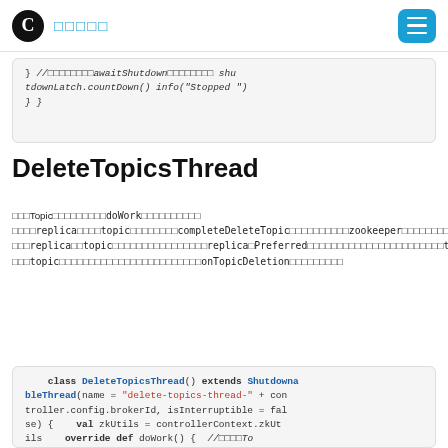C □□□□□
} //□□□□□□□□awaitShutdown□□□□□□□□ shutdownLatch.countDown() info("Stopped ") } }
DeleteTopicsThread
□□□Topic□□□□□□□□□doWork□□□□□□□□□□ □□□□replica□□□□topic□□□□□□□□completeDeleteTopic□□□□□□□□□□zookeeper□□□□□□□□□controller□□□□□□ □□□replica□□topic□□□□□□□□□□□□□□□□replica□Preferred□□□□□□□□□□□□□□□□□□□□□□□topic□□□□□□ □□□topic□□□□□□□□□□□□□□□□□□□□□□□□onTopicDeletion□□□□□□□□□
class DeleteTopicsThread() extends ShutdownableThread(name = "delete-topics-thread-" + controller.config.brokerId, isInterruptible = false) {    val zkUtils = controllerContext.zkUtils    override def doWork() {  //□□□□To